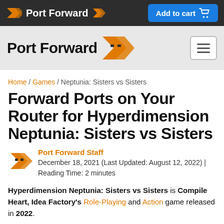Port Forward | Add to cart
[Figure (logo): Port Forward logo with orange chevron icon on white/gray background with hamburger menu button]
Home / Games / Neptunia: Sisters vs Sisters
Forward Ports on Your Router for Hyperdimension Neptunia: Sisters vs Sisters
Port Forward Staff
December 18, 2021 (Last Updated: August 12, 2022) | Reading Time: 2 minutes
Hyperdimension Neptunia: Sisters vs Sisters is Compile Heart, Idea Factory's Role-Playing and Action game released in 2022.